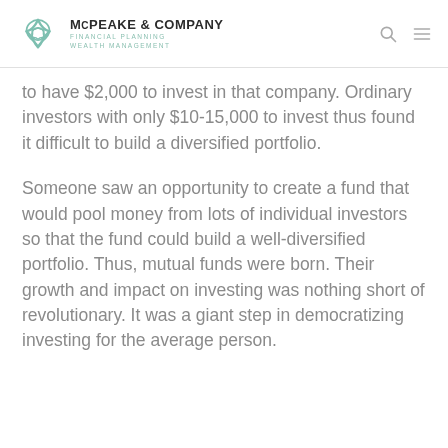McPEAKE & COMPANY | FINANCIAL PLANNING WEALTH MANAGEMENT
to have $2,000 to invest in that company. Ordinary investors with only $10-15,000 to invest thus found it difficult to build a diversified portfolio.
Someone saw an opportunity to create a fund that would pool money from lots of individual investors so that the fund could build a well-diversified portfolio. Thus, mutual funds were born. Their growth and impact on investing was nothing short of revolutionary. It was a giant step in democratizing investing for the average person.